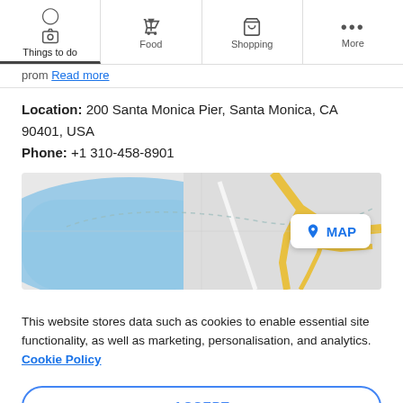Things to do | Food | Shopping | More
Read more
Location: 200 Santa Monica Pier, Santa Monica, CA 90401, USA
Phone: +1 310-458-8901
[Figure (map): Google Maps view showing Santa Monica Pier area with blue water, yellow roads, and a MAP button overlay]
This website stores data such as cookies to enable essential site functionality, as well as marketing, personalisation, and analytics. Cookie Policy
ACCEPT